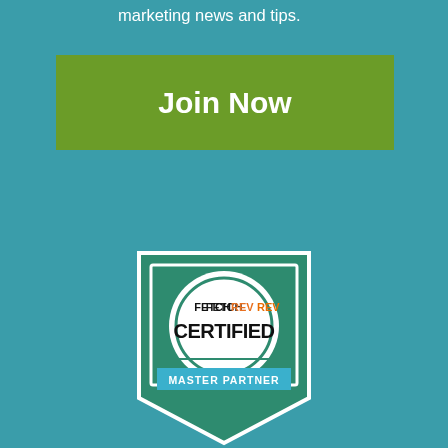marketing news and tips.
[Figure (logo): Green Join Now button]
[Figure (logo): FetchRev Certified Master Partner badge - shield shape with green background, white circle, FETCHREV text in black/orange, CERTIFIED in bold black, MASTER PARTNER on blue banner]